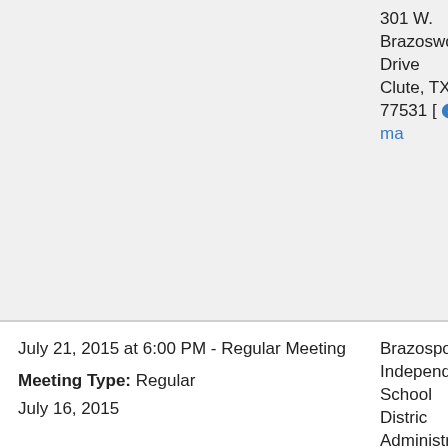301 W. Brazoswood Drive Clute, TX 77531 [map]
July 21, 2015 at 6:00 PM - Regular Meeting
Meeting Type: Regular
July 16, 2015
Brazosport Independent School District Administration Building 301 W. Brazoswood Drive Clute, TX 77531 [map]
July 15, 2015 at 5:30 PM - Special Meeting
Brazosport Independent